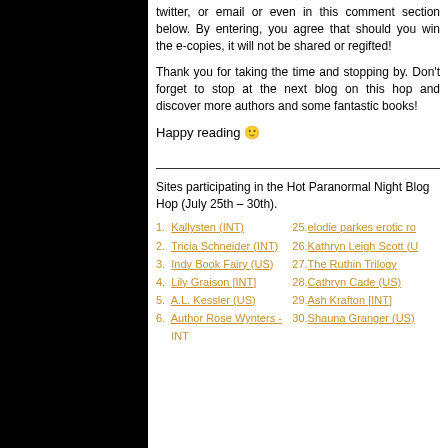twitter, or email or even in this comment section below. By entering, you agree that should you win the e-copies, it will not be shared or regifted!
Thank you for taking the time and stopping by. Don't forget to stop at the next blog on this hop and discover more authors and some fantastic books!
Happy reading 😊
Sites participating in the Hot Paranormal Night Blog Hop (July 25th – 30th).
1. Kallysten (INT)
2. Tricia Schneider (INT)
3. Indy Book Fairy (US)
4. Lily Graison [INT]
5. A.L. Kessler (US)
6. Author Rose Wynters - INT
25. elodie parkes erotic ro...
26. Kathryn Leigh Scott (U...
27. The Ruthin Trilogy
28. Cathryn Cade (US)
29. Ash Krafton [INT]
30. Shauna Granger (US)